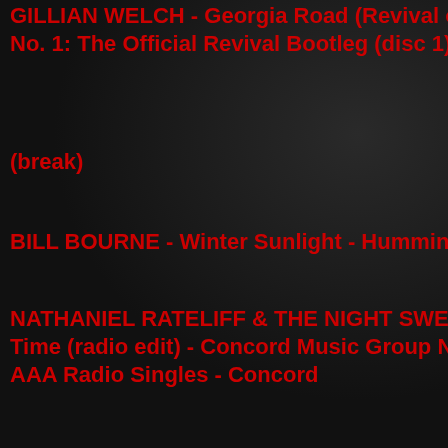GILLIAN WELCH - Georgia Road (Revival ou... No. 1: The Official Revival Bootleg (disc 1) -
(break)
BILL BOURNE - Winter Sunlight - Hummingb...
NATHANIEL RATELIFF & THE NIGHT SWEAT... Time (radio edit) - Concord Music Group Nov... AAA Radio Singles - Concord
LISA BASTONI - Rabbit Hole - The Wishing H...
(break)
KY BURT - Drifting Heart - The Moon And Th...